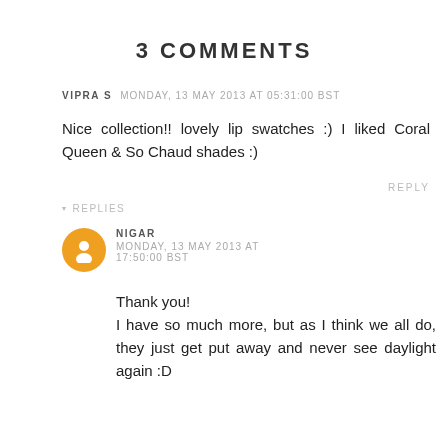3 COMMENTS
VIPRA S   MONDAY, 13 MAY 2013 AT 05:31:00 BST
Nice collection!! lovely lip swatches :) I liked Coral Queen & So Chaud shades :)
REPLY
▾ REPLIES
NIGAR   MONDAY, 13 MAY 2013 AT 17:50:00 BST
Thank you!
I have so much more, but as I think we all do, they just get put away and never see daylight again :D